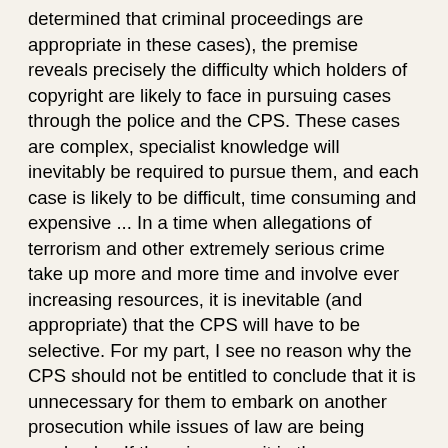determined that criminal proceedings are appropriate in these cases), the premise reveals precisely the difficulty which holders of copyright are likely to face in pursuing cases through the police and the CPS. These cases are complex, specialist knowledge will inevitably be required to pursue them, and each case is likely to be difficult, time consuming and expensive ... In a time when allegations of terrorism and other extremely serious crime take up more and more time and involve ever increasing resources, it is inevitable (and appropriate) that the CPS will have to be selective. For my part, I see no reason why the CPS should not be entitled to conclude that it is unnecessary for them to embark on another prosecution while issues of law are being resolved ... If there is no merit in the prosecution, that will no doubt be revealed. A preparatory hearing under Part III of the Criminal Procedure and Investigations Act 1996 can, if it is thought appropriate, generate an early resolution of legal issues (particularly if determinative). If